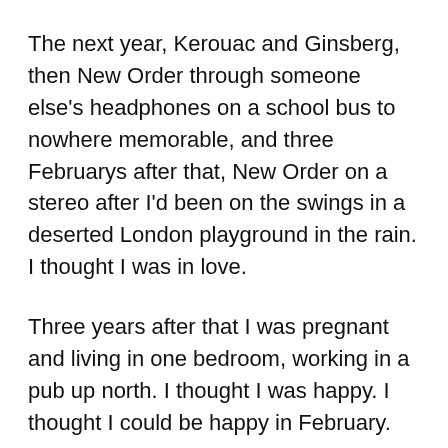The next year, Kerouac and Ginsberg, then New Order through someone else's headphones on a school bus to nowhere memorable, and three Februarys after that, New Order on a stereo after I'd been on the swings in a deserted London playground in the rain. I thought I was in love.
Three years after that I was pregnant and living in one bedroom, working in a pub up north. I thought I was happy. I thought I could be happy in February.